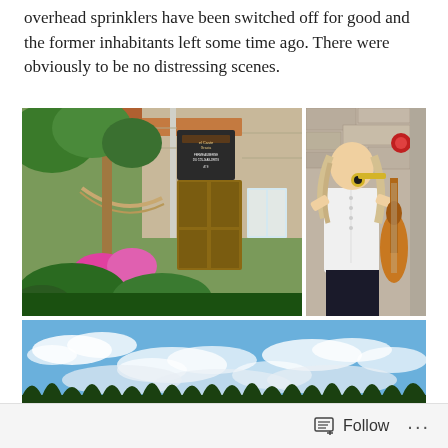overhead sprinklers have been switched off for good and the former inhabitants left some time ago. There were obviously to be no distressing scenes.
[Figure (photo): Left photo: a rustic stone building with a wooden door, a sign, a hammock, and colorful pink flowers and lush greenery in the foreground. Right photo: a person with long hair playing a trumpet or small brass instrument, wearing a white shirt, with a double bass visible beside them, against a stone wall background.]
[Figure (photo): Bottom panoramic photo: a wide landscape view showing a blue sky with scattered clouds and a tree line of dark green conifer trees along the horizon.]
Follow ···